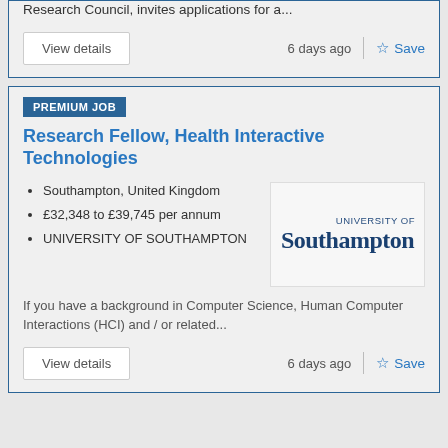Research Council, invites applications for a...
6 days ago
Save
PREMIUM JOB
Research Fellow, Health Interactive Technologies
Southampton, United Kingdom
£32,348 to £39,745 per annum
UNIVERSITY OF SOUTHAMPTON
[Figure (logo): University of Southampton logo with serif text]
If you have a background in Computer Science, Human Computer Interactions (HCI) and / or related...
6 days ago
Save